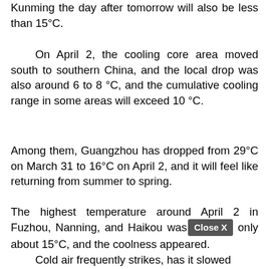Kunming the day after tomorrow will also be less than 15°C.
On April 2, the cooling core area moved south to southern China, and the local drop was also around 6 to 8 °C, and the cumulative cooling range in some areas will exceed 10 °C.
Among them, Guangzhou has dropped from 29°C on March 31 to 16°C on April 2, and it will feel like returning from summer to spring.
The highest temperature around April 2 in Fuzhou, Nanning, and Haikou was only about 15°C, and the coolness appeared.
Cold air frequently strikes, has it slowed